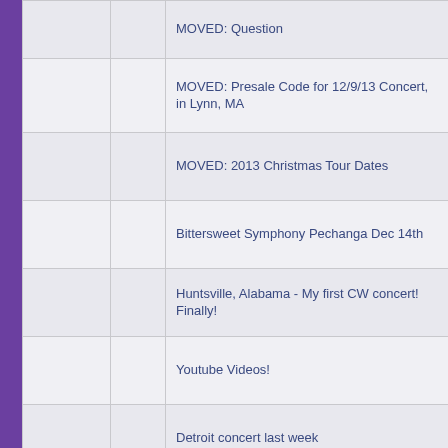MOVED: Question
MOVED: Presale Code for 12/9/13 Concert, in Lynn, MA
MOVED: 2013 Christmas Tour Dates
Bittersweet Symphony Pechanga Dec 14th
Huntsville, Alabama - My first CW concert! Finally!
Youtube Videos!
Detroit concert last week
First 2012 Christmas Concert - A Great Way to Spend an Evening